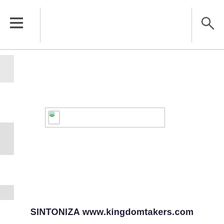☰  🔍
[Figure (other): Broken image placeholder — a document/spreadsheet icon with a small landscape thumbnail in the top-left corner, inside a bordered rectangular box]
SINTONIZA www.kingdomtakers.com